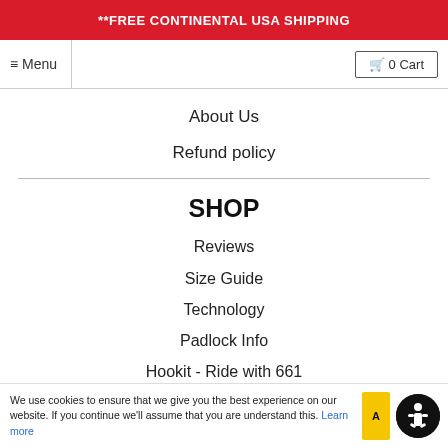**FREE CONTINENTAL USA SHIPPING
≡ Menu | 🛒 0 Cart
About Us
Refund policy
SHOP
Reviews
Size Guide
Technology
Padlock Info
Hookit - Ride with 661
Military Service Program
Thank You Supply
© 2022 SixSixOne.com
We use cookies to ensure that we give you the best experience on our website. If you continue we'll assume that you are understand this. Learn more